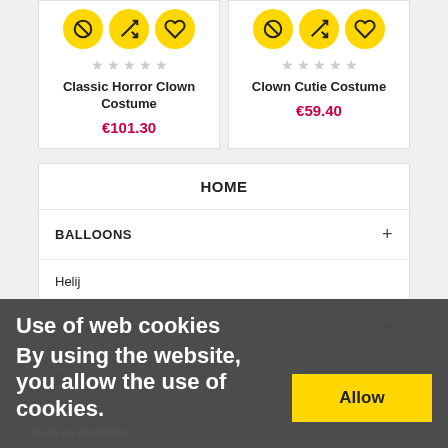[Figure (screenshot): Product card for Classic Horror Clown Costume with yellow icon circles (no, shuffle, heart), grey stars, name, and price €101.30 in red]
[Figure (screenshot): Product card for Clown Cutie Costume with yellow icon circles (no, shuffle, heart), grey stars, name, and price €59.40 in red]
HOME
BALLOONS +
Helij
Valentine +
PARTY... +
Use of web cookies
By using the website, you allow the use of cookies.
Allow
Make an inscription